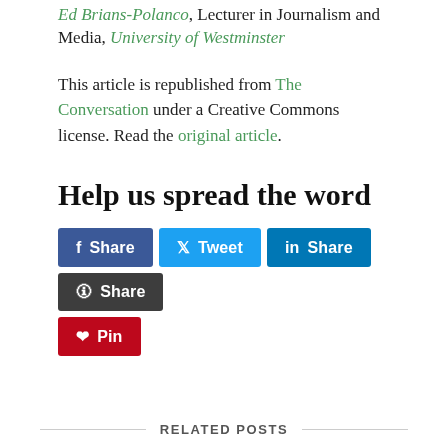Ed Brians-Polanco, Lecturer in Journalism and Media, University of Westminster
This article is republished from The Conversation under a Creative Commons license. Read the original article.
Help us spread the word
[Figure (infographic): Social sharing buttons: Facebook Share, Twitter Tweet, LinkedIn Share, Reddit Share, Pinterest Pin]
RELATED POSTS